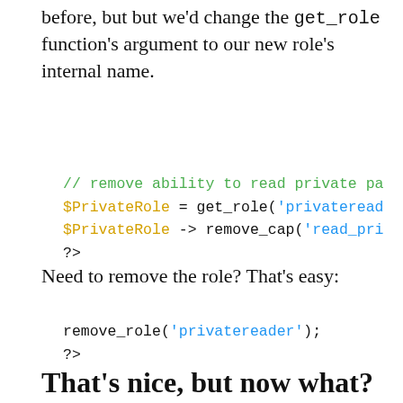before, but but we'd change the get_role function's argument to our new role's internal name.
// remove ability to read private pa
$PrivateRole = get_role('privateread
$PrivateRole -> remove_cap('read_pri
?>
Need to remove the role? That's easy:
remove_role('privatereader');
?>
That's nice, but now what?